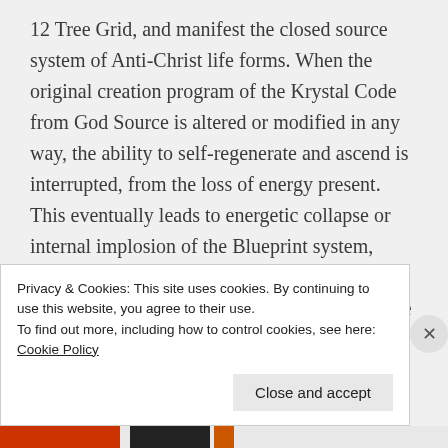12 Tree Grid, and manifest the closed source system of Anti-Christ life forms. When the original creation program of the Krystal Code from God Source is altered or modified in any way, the ability to self-regenerate and ascend is interrupted, from the loss of energy present. This eventually leads to energetic collapse or internal implosion of the Blueprint system, which manifests as Fallen Consciousness and then potential annihilation. The black substance that manifests in the lower
Privacy & Cookies: This site uses cookies. By continuing to use this website, you agree to their use.
To find out more, including how to control cookies, see here: Cookie Policy
Close and accept